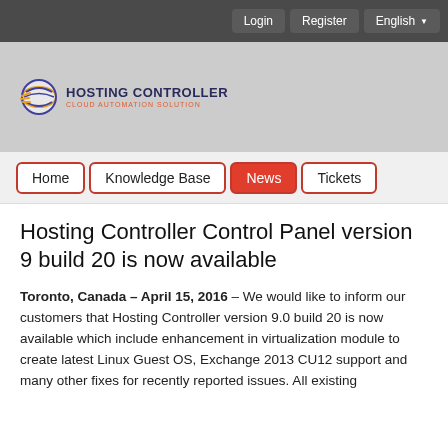Login  Register  English
[Figure (logo): Hosting Controller logo with globe icon, brand name and 'Cloud Automation Solution' tagline]
Home  Knowledge Base  News  Tickets
Hosting Controller Control Panel version 9 build 20 is now available
Toronto, Canada – April 15, 2016 – We would like to inform our customers that Hosting Controller version 9.0 build 20 is now available which include enhancement in virtualization module to create latest Linux Guest OS, Exchange 2013 CU12 support and many other fixes for recently reported issues.  All existing